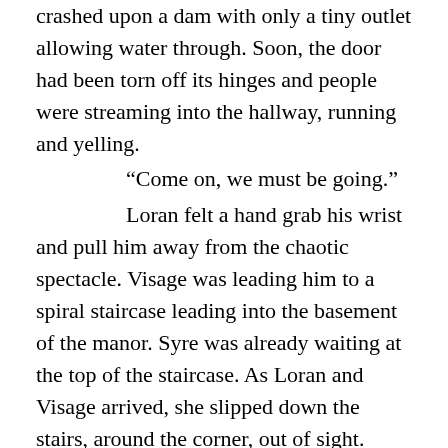crashed upon a dam with only a tiny outlet allowing water through. Soon, the door had been torn off its hinges and people were streaming into the hallway, running and yelling.

“Come on, we must be going.”

Loran felt a hand grab his wrist and pull him away from the chaotic spectacle. Visage was leading him to a spiral staircase leading into the basement of the manor. Syre was already waiting at the top of the staircase. As Loran and Visage arrived, she slipped down the stairs, around the corner, out of sight. Loran went next, overcoming the urge to look back down the hall. Behind him came a loud clatter and a few grunts. Visage was lying in a heap at Loran’s feet.

“Blasted animals!” Visage grunted as he got up.

Loran looked around the small landing for Syre.

She was crouching next to a door, examining the locking